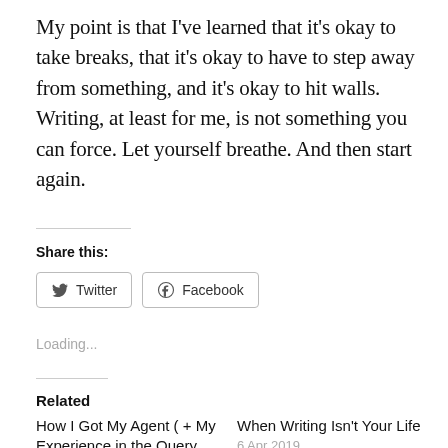My point is that I've learned that it's okay to take breaks, that it's okay to have to step away from something, and it's okay to hit walls. Writing, at least for me, is not something you can force. Let yourself breathe. And then start again.
Share this:
Twitter  Facebook
Loading...
Related
How I Got My Agent ( + My Experience in the Query
When Writing Isn't Your Life
6 Apr 2019